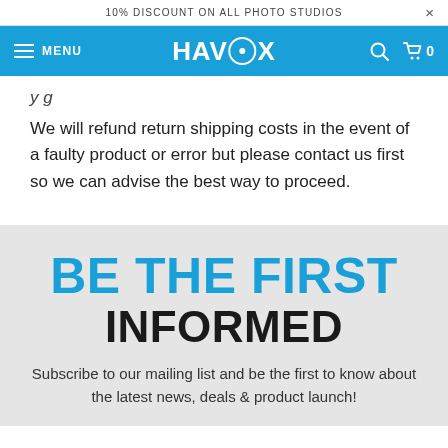10% DISCOUNT ON ALL PHOTO STUDIOS  ×
MENU  HAVOX  🔍  🛒 0
We will refund return shipping costs in the event of a faulty product or error but please contact us first so we can advise the best way to proceed.
BE THE FIRST
INFORMED
Subscribe to our mailing list and be the first to know about the latest news, deals & product launch!